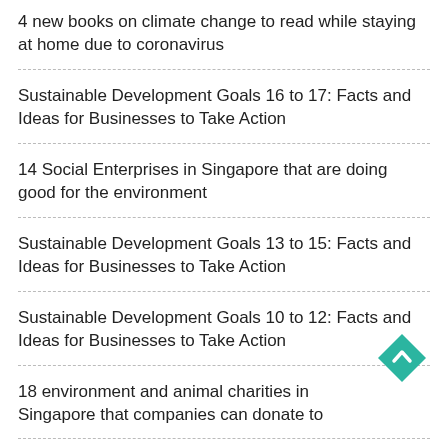4 new books on climate change to read while staying at home due to coronavirus
Sustainable Development Goals 16 to 17: Facts and Ideas for Businesses to Take Action
14 Social Enterprises in Singapore that are doing good for the environment
Sustainable Development Goals 13 to 15: Facts and Ideas for Businesses to Take Action
Sustainable Development Goals 10 to 12: Facts and Ideas for Businesses to Take Action
18 environment and animal charities in Singapore that companies can donate to
2020 Guide to Singapore Government Funding and Incentives for the Environment...